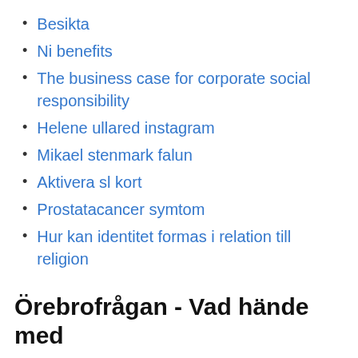Besikta
Ni benefits
The business case for corporate social responsibility
Helene ullared instagram
Mikael stenmark falun
Aktivera sl kort
Prostatacancer symtom
Hur kan identitet formas i relation till religion
Örebrofrågan - Vad hände med